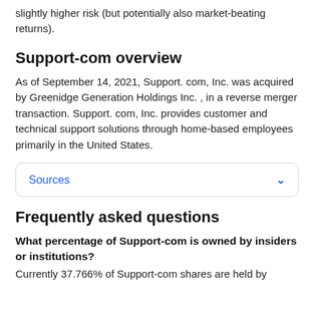slightly higher risk (but potentially also market-beating returns).
Support-com overview
As of September 14, 2021, Support. com, Inc. was acquired by Greenidge Generation Holdings Inc. , in a reverse merger transaction. Support. com, Inc. provides customer and technical support solutions through home-based employees primarily in the United States.
Sources
Frequently asked questions
What percentage of Support-com is owned by insiders or institutions?
Currently 37.766% of Support-com shares are held by